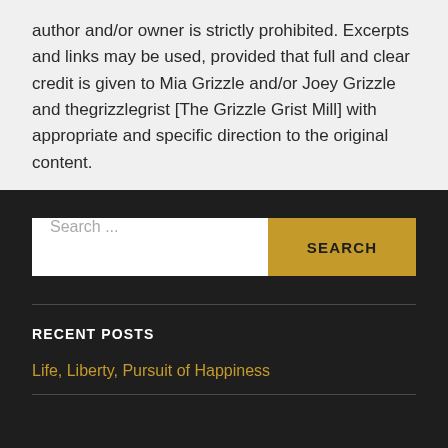author and/or owner is strictly prohibited. Excerpts and links may be used, provided that full and clear credit is given to Mia Grizzle and/or Joey Grizzle and thegrizzlegrist [The Grizzle Grist Mill] with appropriate and specific direction to the original content.
Search ...
RECENT POSTS
Life, Liberty, Pursuit of Happiness